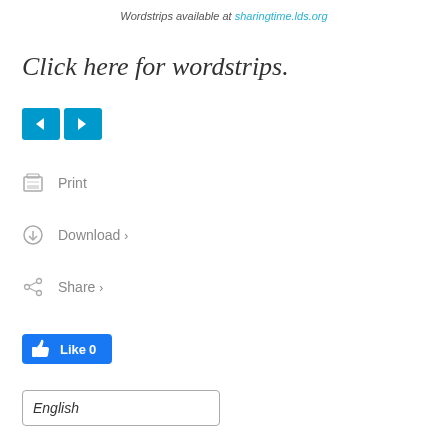Wordstrips available at sharingtime.lds.org
Click here for wordstrips.
[Figure (other): Navigation previous/next buttons (left arrow and right arrow) in teal/blue color]
Print
Download >
Share >
[Figure (other): Facebook Like button showing count 0]
English